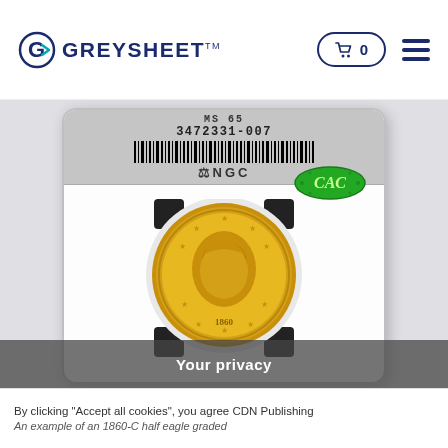[Figure (logo): Greysheet logo with stylized G icon and text GREYSHEET with TM mark in dark navy blue]
[Figure (photo): NGC graded coin slab containing a gold Liberty Head half eagle coin dated 1860, with NGC label showing serial number 3472331-007 and barcode, plus a green CAC sticker on the slab]
Your privacy
By clicking "Accept all cookies", you agree CDN Publishing
An example of an 1860-C half eagle graded